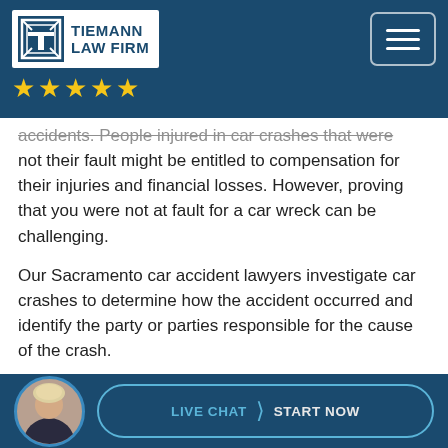TIEMANN LAW FIRM ★★★★★
accidents. People injured in car crashes that were not their fault might be entitled to compensation for their injuries and financial losses. However, proving that you were not at fault for a car wreck can be challenging.
Our Sacramento car accident lawyers investigate car crashes to determine how the accident occurred and identify the party or parties responsible for the cause of the crash.
Top Five Factors in Sacramento Car Crashes
[Figure (photo): Circular avatar photo of a blonde woman attorney, bottom bar of site with LIVE CHAT | START NOW button]